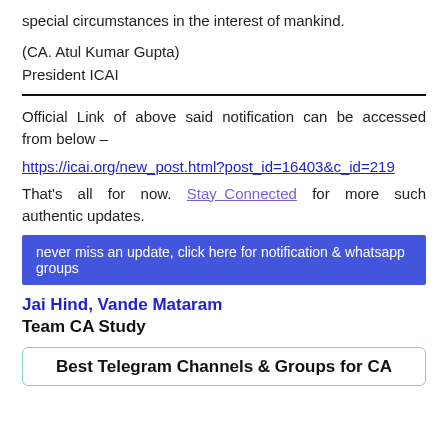special circumstances in the interest of mankind.
(CA. Atul Kumar Gupta)
President ICAI
Official Link of above said notification can be accessed from below –
https://icai.org/new_post.html?post_id=16403&c_id=219
That's all for now. Stay Connected for more such authentic updates.
never miss an update, click here for notification & whatsapp groups
Jai Hind, Vande Mataram
Team CA Study
Best Telegram Channels & Groups for CA